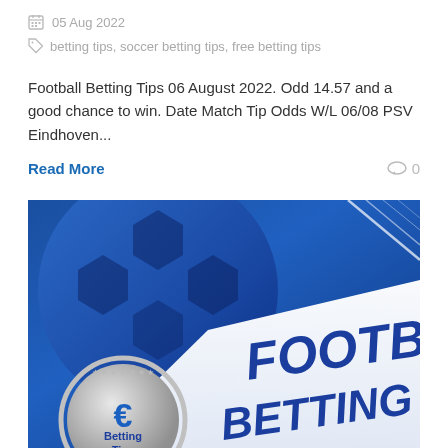05 Aug 2022
betting tips, soccer betting tips, free betting tips
Football Betting Tips 06 August 2022. Odd 14.57 and a good chance to win. Date Match Tip Odds W/L 06/08 PSV Eindhoven...
Read More
0
[Figure (photo): Football betting tips promotional image showing a blue soccer ball background with bold blue text reading FOOTBALL BETTING TIPS on a white ribbon/banner, and a silver coin with a euro symbol and text Betting Tips in the bottom left corner.]